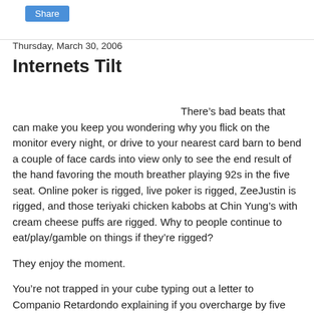Share
Thursday, March 30, 2006
Internets Tilt
There’s bad beats that can make you keep you wondering why you flick on the monitor every night, or drive to your nearest card barn to bend a couple of face cards into view only to see the end result of the hand favoring the mouth breather playing 92s in the five seat. Online poker is rigged, live poker is rigged, ZeeJustin is rigged, and those teriyaki chicken kabobs at Chin Yung’s with cream cheese puffs are rigged. Why to people continue to eat/play/gamble on things if they’re rigged?
They enjoy the moment.
You’re not trapped in your cube typing out a letter to Companio Retardondo explaining if you overcharge by five dollars an item that we may ask for that difference back and